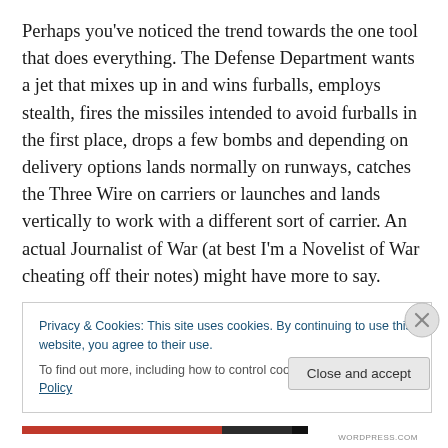Perhaps you've noticed the trend towards the one tool that does everything. The Defense Department wants a jet that mixes up in and wins furballs, employs stealth, fires the missiles intended to avoid furballs in the first place, drops a few bombs and depending on delivery options lands normally on runways, catches the Three Wire on carriers or launches and lands vertically to work with a different sort of carrier. An actual Journalist of War (at best I'm a Novelist of War cheating off their notes) might have more to say.
Privacy & Cookies: This site uses cookies. By continuing to use this website, you agree to their use.
To find out more, including how to control cookies, see here: Cookie Policy